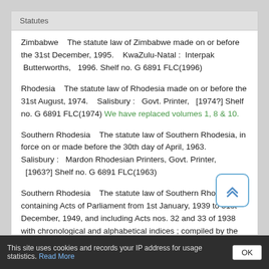Statutes
Zimbabwe    The statute law of Zimbabwe made on or before the 31st December, 1995.    KwaZulu-Natal :   Interpak  Butterworths,   1996. Shelf no. G 6891 FLC(1996)
Rhodesia    The statute law of Rhodesia made on or before the 31st August, 1974.    Salisbury :   Govt. Printer,   [1974?] Shelf no. G 6891 FLC(1974) We have replaced volumes 1, 8 & 10.
Southern Rhodesia    The statute law of Southern Rhodesia, in force on or made before the 30th day of April, 1963.    Salisbury :   Mardon Rhodesian Printers, Govt. Printer,   [1963?] Shelf no. G 6891 FLC(1963)
Southern Rhodesia    The statute law of Southern Rhodesia containing Acts of Parliament from 1st January, 1939 to 31st December, 1949, and including Acts nos. 32 and 33 of 1938 with chronological and alphabetical indices ; compiled by the Department of Justice of Southern Rhodesia.     London :   C.F. Roworth, Govt. Printers,   1950. Shelf no. G 6891
This site uses cookies and records your IP address for usage statistics. Read More  OK